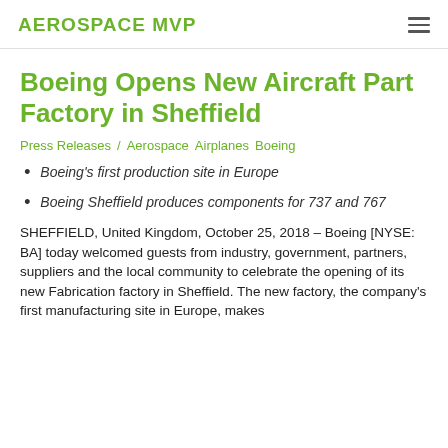AEROSPACE MVP
Boeing Opens New Aircraft Part Factory in Sheffield
Press Releases / Aerospace Airplanes Boeing
Boeing's first production site in Europe
Boeing Sheffield produces components for 737 and 767
SHEFFIELD, United Kingdom, October 25, 2018 – Boeing [NYSE: BA] today welcomed guests from industry, government, partners, suppliers and the local community to celebrate the opening of its new Fabrication factory in Sheffield. The new factory, the company's first manufacturing site in Europe, makes